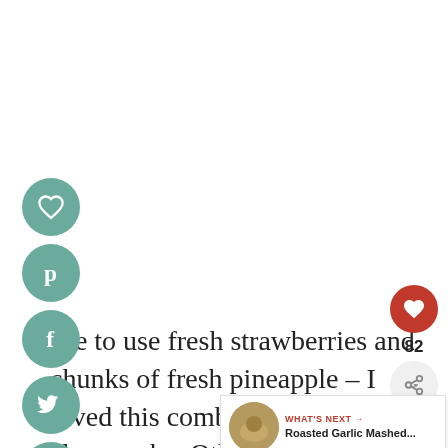[Figure (other): Vertical column of 5 social media icon circles (heart/save, Pinterest, Facebook, Twitter, Email) in teal/green color on the left side of the page]
ose to use fresh strawberries and chunks of fresh pineapple – I loved this combo with the cheesecake. Oth... fruits to use for these simple pops would
[Figure (other): Floating right-side UI: red heart button, count '82', share button, and a 'What's Next' card showing 'Roasted Garlic Mashed...' with a thumbnail image]